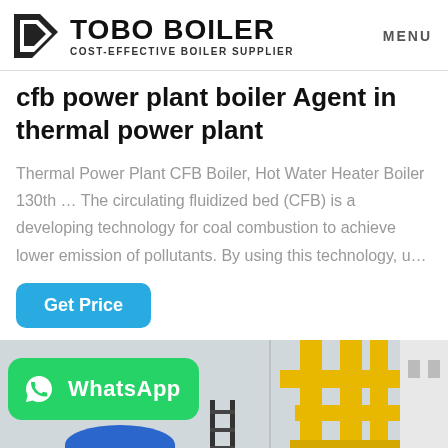TOBO BOILER COST-EFFECTIVE BOILER SUPPLIER | MENU
cfb power plant boiler Agent in thermal power plant
Thermal Power Plant CFB Boiler, Hot Water Heater Boiler 130th … The circulating fluidized bed (CFB) is a developing technology for coal combustion to achieve lower emission of pollutants. By using this technology, u…
[Figure (screenshot): Get Price button - blue rounded rectangle with white text]
[Figure (photo): Industrial boiler facility with yellow pipes and blue boiler equipment, with WhatsApp badge overlay showing green background and phone icon]